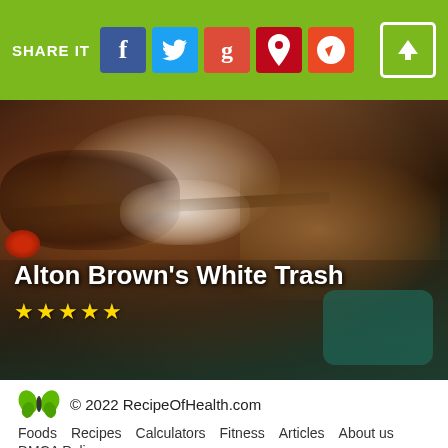SHARE IT (social share bar with Facebook, Twitter, Google+, Pinterest, StumbleUpon buttons)
[Figure (photo): Close-up food photo of Alton Brown's White Trash snack mix: clusters of popcorn, pretzels, nuts, and dried cranberries coated in white chocolate, with a red dried cherry visible on the left and teal/blue background on lower right. Recipe title 'Alton Brown's White Trash' and 5 gold stars overlaid at bottom.]
© 2022 RecipeOfHealth.com  Foods  Recipes  Calculators  Fitness  Articles  About us  DMCA Policy